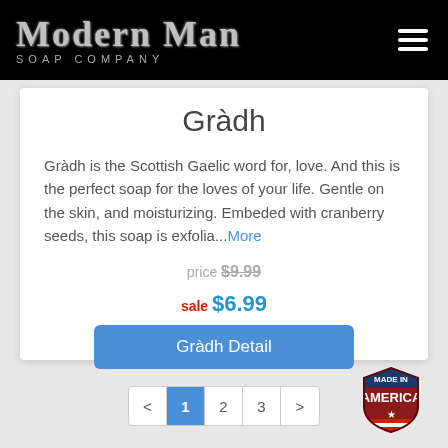Modern Man SOAP COMPANY
Gràdh
Gràdh is the Scottish Gaelic word for, love. And this is the perfect soap for the loves of your life. Gentle on the skin, and moisturizing. Embeded with cranberry seeds, this soap is exfolia...More
price $9.99
sale $6.99
Gràdh Detail
< 1 2 3 >